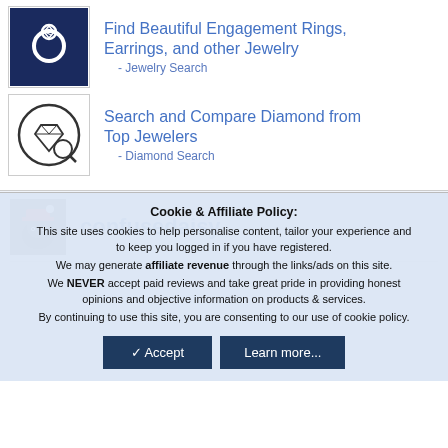[Figure (illustration): Icon of a ring with a gemstone on dark navy background inside a bordered box]
Find Beautiful Engagement Rings, Earrings, and other Jewelry
- Jewelry Search
[Figure (illustration): Icon of a diamond with a magnifying glass inside a circle, bordered box]
Search and Compare Diamond from Top Jewelers
- Diamond Search
[Figure (photo): Small square profile photo of a dog wearing a red hat]
confusedaisy
Cookie & Affiliate Policy:
This site uses cookies to help personalise content, tailor your experience and to keep you logged in if you have registered.
We may generate affiliate revenue through the links/ads on this site.
We NEVER accept paid reviews and take great pride in providing honest opinions and objective information on products & services.
By continuing to use this site, you are consenting to our use of cookie policy.